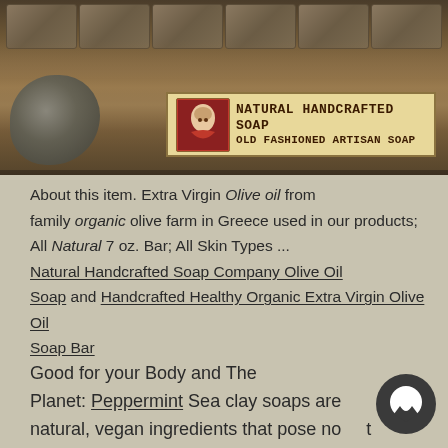[Figure (photo): A photo banner showing handcrafted soap bars on a wooden surface, with a logo overlay reading 'NATURAL HANDCRAFTED SOAP / OLD FASHIONED ARTISAN SOAP' with a decorative woman's face icon on a cream/tan background.]
About this item. Extra Virgin Olive oil from family organic olive farm in Greece used in our products; All Natural 7 oz. Bar; All Skin Types ... Natural Handcrafted Soap Company Olive Oil Soap and Handcrafted Healthy Organic Extra Virgin Olive Oil Soap Bar
Good for your Body and The Planet: Peppermint Sea clay soaps are natural, vegan ingredients that pose no threat to the environment. Our products &